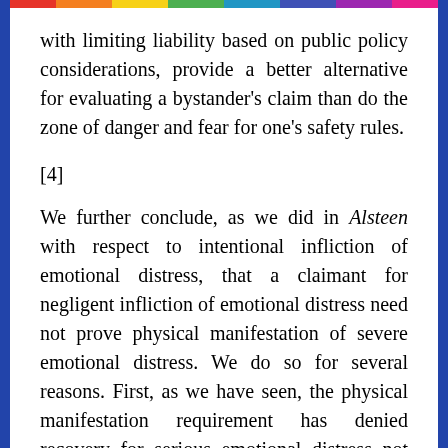with limiting liability based on public policy considerations, provide a better alternative for evaluating a bystander's claim than do the zone of danger and fear for one's safety rules.
[4]
We further conclude, as we did in Alsteen with respect to intentional infliction of emotional distress, that a claimant for negligent infliction of emotional distress need not prove physical manifestation of severe emotional distress. We do so for several reasons. First, as we have seen, the physical manifestation requirement has denied recovery for serious emotional distress not accompanied by physical symptoms. Second, given the present state of medical science, emotional distress can be established by means other than proof of physical manifestation. Third, although it was designed to ensure against manufactured or feigned claims, the physical